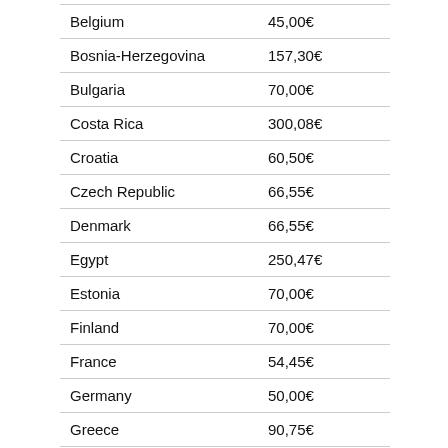| Country | Amount |
| --- | --- |
| Belgium | 45,00€ |
| Bosnia-Herzegovina | 157,30€ |
| Bulgaria | 70,00€ |
| Costa Rica | 300,08€ |
| Croatia | 60,50€ |
| Czech Republic | 66,55€ |
| Denmark | 66,55€ |
| Egypt | 250,47€ |
| Estonia | 70,00€ |
| Finland | 70,00€ |
| France | 54,45€ |
| Germany | 50,00€ |
| Greece | 90,75€ |